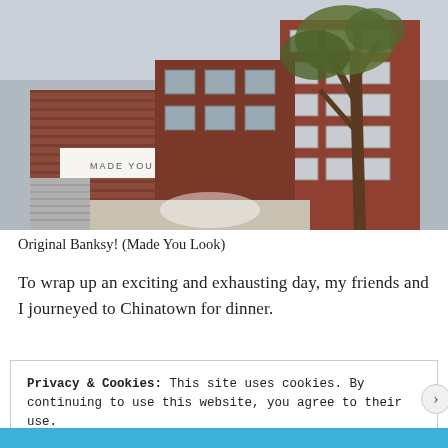[Figure (photo): Street-level photograph of a red brick building with a white shop sign reading 'MADE YOU LOOK', with multi-storey brick residential flats behind and a tree in the foreground.]
Original Banksy! (Made You Look)
To wrap up an exciting and exhausting day, my friends and I journeyed to Chinatown for dinner.
Privacy & Cookies: This site uses cookies. By continuing to use this website, you agree to their use.
To find out more, including how to control cookies, see here: Cookie Policy
Close and accept